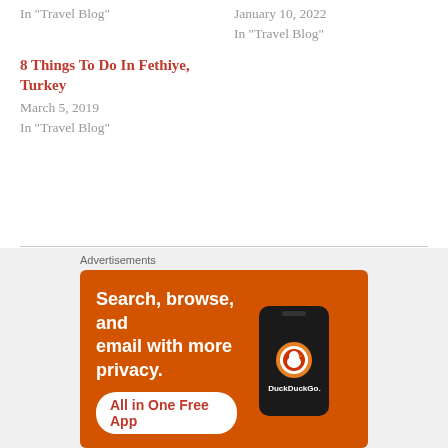In "Travel Blog"
January 10, 2022
In "Travel Blog"
8 Things To Do In Fethiye, Turkey
March 5, 2019
In "Travel Blog"
Published by Juber Ahmed
[Figure (screenshot): DuckDuckGo advertisement banner: orange background with text 'Search, browse, and email with more privacy. All in One Free App' and an image of a smartphone with DuckDuckGo logo]